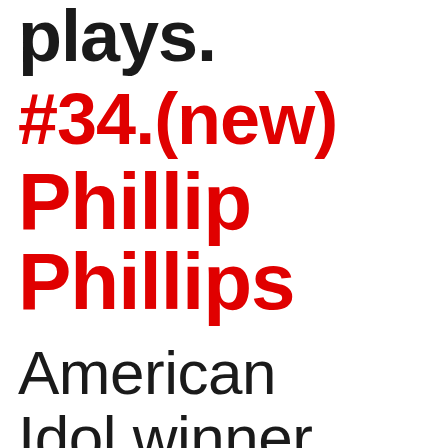plays.
#34.(new)
Phillip Phillips
American Idol winner